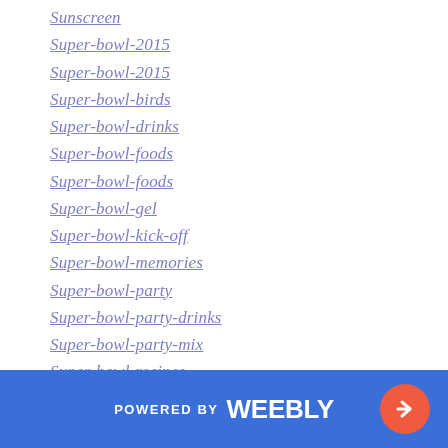Sunscreen
Super-bowl-2015
Super-bowl-2015
Super-bowl-birds
Super-bowl-drinks
Super-bowl-foods
Super-bowl-foods
Super-bowl-gel
Super-bowl-kick-off
Super-bowl-memories
Super-bowl-party
Super-bowl-party-drinks
Super-bowl-party-mix
Super-bowl-recipes
Super-bowl-relief
Super-bowl-relief
Super-bowl-sundae
POWERED BY weebly